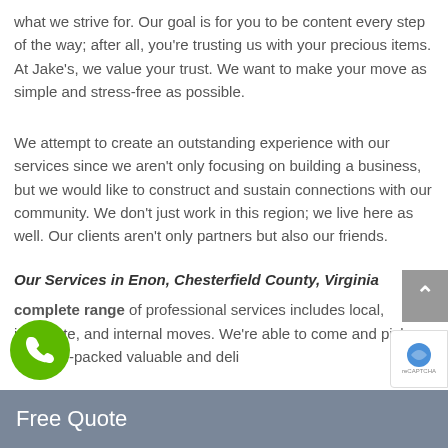what we strive for. Our goal is for you to be content every step of the way; after all, you’re trusting us with your precious items. At Jake’s, we value your trust. We want to make your move as simple and stress-free as possible.
We attempt to create an outstanding experience with our services since we aren’t only focusing on building a business, but we would like to construct and sustain connections with our community. We don’t just work in this region; we live here as well. Our clients aren’t only partners but also our friends.
Our Services in Enon, Chesterfield County, Virginia
complete range of professional services includes local, interstate, and internal moves. We’re able to come and pick up your pre-packed valuable and deli
Free Quote